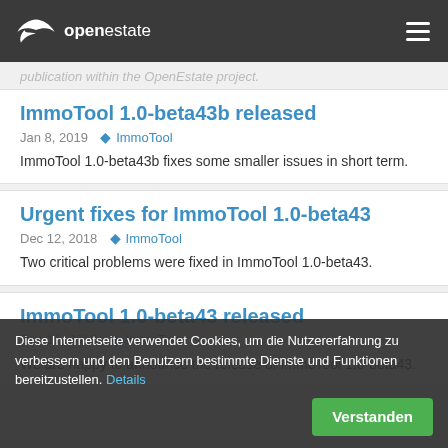openestate
publication within the OpenEstate project.
ImmoTool 1.0-beta43b released
Jan 8, 2019  ImmoTool
ImmoTool 1.0-beta43b fixes some smaller issues in short term.
Urgent fixes for ImmoTool 1.0-beta43
Dec 12, 2018  ImmoTool
Two critical problems were fixed in ImmoTool 1.0-beta43.
ImmoTool 1.0-beta43 released
Dec 11, 2018  ImmoTool
We are happy to announce the release of ImmoTool 1.0-beta43.
Diese Internetseite verwendet Cookies, um die Nutzererfahrung zu verbessern und den Benutzern bestimmte Dienste und Funktionen bereitzustellen. Details
Verstanden